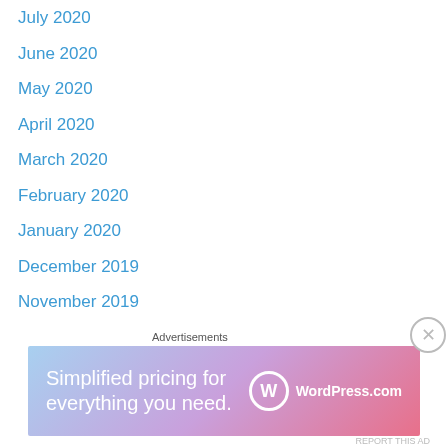July 2020
June 2020
May 2020
April 2020
March 2020
February 2020
January 2020
December 2019
November 2019
October 2019
September 2019
August 2019
July 2019
June 2019
May 2019
April 2019
March 2019
Advertisements
[Figure (other): WordPress.com advertisement banner: 'Simplified pricing for everything you need.' with WordPress.com logo]